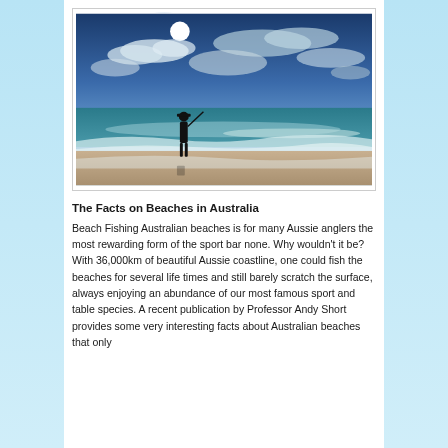[Figure (photo): A person standing at the shoreline of an Australian beach, silhouetted against a dramatic sky with bright sun and clouds, waves washing around their feet.]
The Facts on Beaches in Australia
Beach Fishing Australian beaches is for many Aussie anglers the most rewarding form of the sport bar none. Why wouldn't it be? With 36,000km of beautiful Aussie coastline, one could fish the beaches for several life times and still barely scratch the surface, always enjoying an abundance of our most famous sport and table species. A recent publication by Professor Andy Short provides some very interesting facts about Australian beaches that only